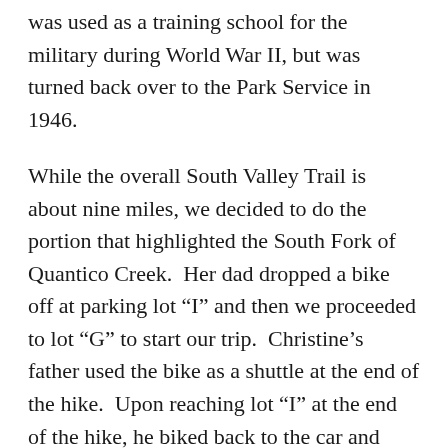was used as a training school for the military during World War II, but was turned back over to the Park Service in 1946.
While the overall South Valley Trail is about nine miles, we decided to do the portion that highlighted the South Fork of Quantico Creek.  Her dad dropped a bike off at parking lot “I” and then we proceeded to lot “G” to start our trip.  Christine’s father used the bike as a shuttle at the end of the hike.  Upon reaching lot “I” at the end of the hike, he biked back to the car and then returned to pick the rest of us up.
We began by walking on Mawavi Road.  In about .4 mile, it intersects with the South Valley Trail.  We took a left on this trail.  The trail runs along Quantico